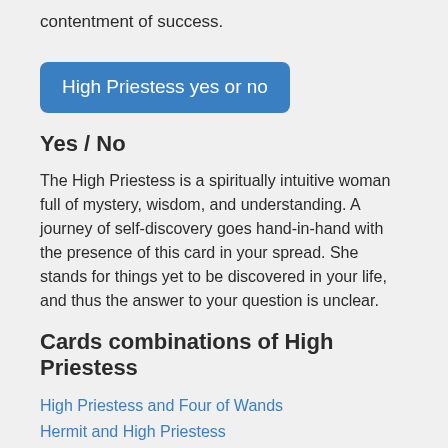contentment of success.
[Figure (other): Blue button with text 'High Priestess yes or no']
Yes / No
The High Priestess is a spiritually intuitive woman full of mystery, wisdom, and understanding. A journey of self-discovery goes hand-in-hand with the presence of this card in your spread. She stands for things yet to be discovered in your life, and thus the answer to your question is unclear.
Cards combinations of High Priestess
High Priestess and Four of Wands
Hermit and High Priestess
Moon and High Priestess
Five of Swords and High Priestess and Ace of Swords
High Priestess and Queen of Cups
Devil and High Priestess
Empress and High Priestess
Fool and High Priestess